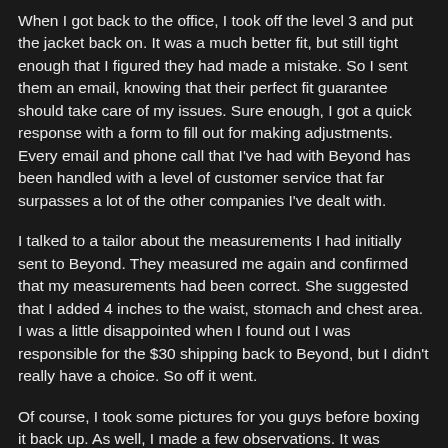When I got back to the office, I took off the level 3 and put the jacket back on. It was a much better fit, but still tight enough that I figured they had made a mistake. So I sent them an email, knowing that their perfect fit guarantee should take care of my issues. Sure enough, I got a quick response with a form to fill out for making adjustments. Every email and phone call that I've had with Beyond has been handled with a level of customer service that far surpasses a lot of the other companies I've dealt with.
I talked to a tailor about the measurements I had initially sent to Beyond. They measured me again and confirmed that my measurements had been correct. She suggested that I added 4 inches to the waist, stomach and chest area. I was a little disappointed when I found out I was responsible for the $30 shipping back to Beyond, but I didn't really have a choice. So off it went.
Of course, I took some pictures for you guys before boxing it back up. As well, I made a few observations. It was raining a bit when I wore it outside, and water beaded - as I expected - since the jacket was brand new. The bicep pockets are